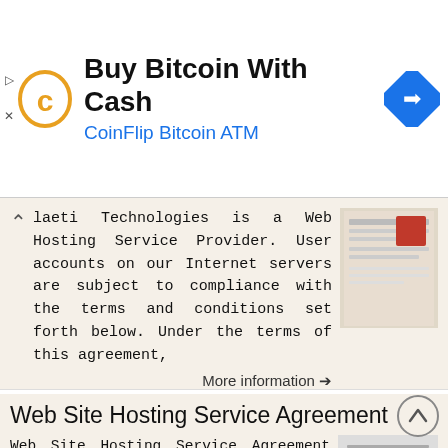[Figure (other): Advertisement banner: Buy Bitcoin With Cash - CoinFlip Bitcoin ATM with logo and navigation arrow icon]
laeti Technologies is a Web Hosting Service Provider. User accounts on our Internet servers are subject to compliance with the terms and conditions set forth below. Under the terms of this agreement,
More information →
Web Site Hosting Service Agreement
Web Site Hosting Service Agreement Updated April, 2015 The following agreement is between Softext Publishing Inc. ( SOFTEXT ) of 954 1st Ave West, Owen Sound ON, Canada and You ( Client ). WHEREAS, SOFTEXT